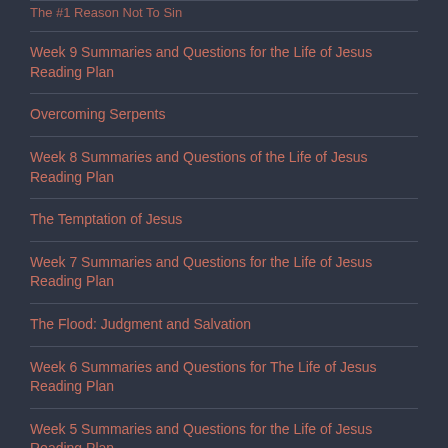The #1 Reason Not To Sin
Week 9 Summaries and Questions for the Life of Jesus Reading Plan
Overcoming Serpents
Week 8 Summaries and Questions of the Life of Jesus Reading Plan
The Temptation of Jesus
Week 7 Summaries and Questions for the Life of Jesus Reading Plan
The Flood: Judgment and Salvation
Week 6 Summaries and Questions for The Life of Jesus Reading Plan
Week 5 Summaries and Questions for the Life of Jesus Reading Plan